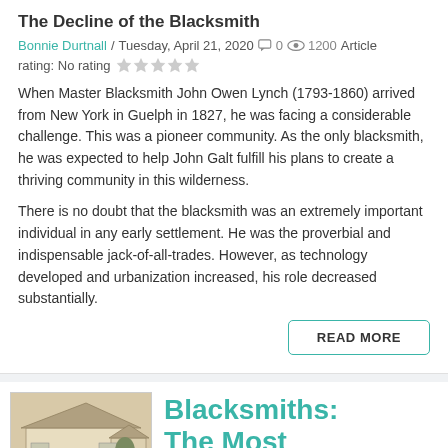The Decline of the Blacksmith
Bonnie Durtnall / Tuesday, April 21, 2020  0  1200  Article rating: No rating
When Master Blacksmith John Owen Lynch (1793-1860) arrived from New York in Guelph in 1827, he was facing a considerable challenge. This was a pioneer community. As the only blacksmith, he was expected to help John Galt fulfill his plans to create a thriving community in this wilderness.
There is no doubt that the blacksmith was an extremely important individual in any early settlement. He was the proverbial and indispensable jack-of-all-trades. However, as technology developed and urbanization increased, his role decreased substantially.
READ MORE
[Figure (photo): Sepia photograph of a blacksmith shop building labeled Guelph Museums]
Blacksmiths: The Most Important